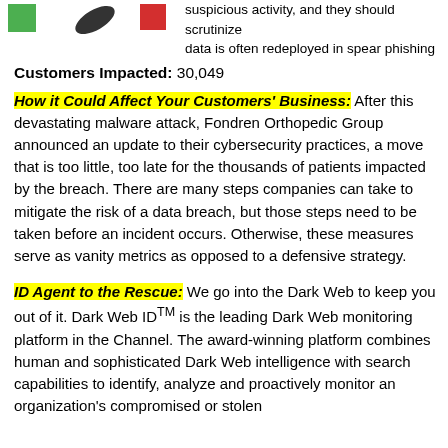suspicious activity, and they should scrutinize data is often redeployed in spear phishing at
Customers Impacted: 30,049
How it Could Affect Your Customers' Business: After this devastating malware attack, Fondren Orthopedic Group announced an update to their cybersecurity practices, a move that is too little, too late for the thousands of patients impacted by the breach. There are many steps companies can take to mitigate the risk of a data breach, but those steps need to be taken before an incident occurs. Otherwise, these measures serve as vanity metrics as opposed to a defensive strategy.
ID Agent to the Rescue: We go into the Dark Web to keep you out of it. Dark Web ID™ is the leading Dark Web monitoring platform in the Channel. The award-winning platform combines human and sophisticated Dark Web intelligence with search capabilities to identify, analyze and proactively monitor an organization's compromised or stolen